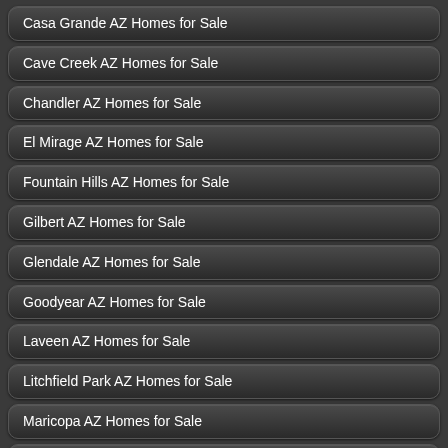Casa Grande AZ Homes for Sale
Cave Creek AZ Homes for Sale
Chandler AZ Homes for Sale
El Mirage AZ Homes for Sale
Fountain Hills AZ Homes for Sale
Gilbert AZ Homes for Sale
Glendale AZ Homes for Sale
Goodyear AZ Homes for Sale
Laveen AZ Homes for Sale
Litchfield Park AZ Homes for Sale
Maricopa AZ Homes for Sale
Mesa AZ Homes for Sale
Paradise Valley AZ Homes for Sale